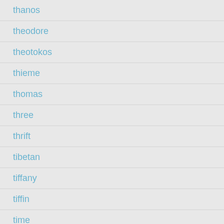thanos
theodore
theotokos
thieme
thomas
three
thrift
tibetan
tiffany
tiffin
time
timelapse
timmy